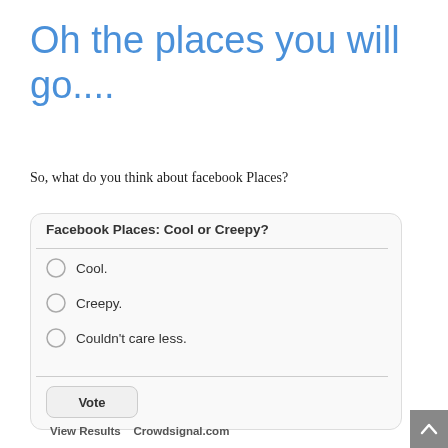Oh the places you will go....
So, what do you think about facebook Places?
[Figure (other): Poll widget titled 'Facebook Places: Cool or Creepy?' with three radio options: Cool., Creepy., Couldn't care less. A Vote button and footer links 'View Results' and 'Crowdsignal.com']